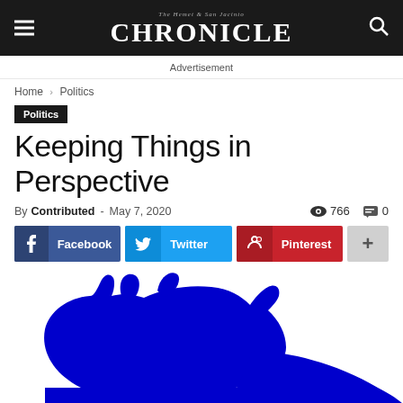The Hemet & San Jacinto Chronicle
Advertisement
Home › Politics
Politics
Keeping Things in Perspective
By Contributed - May 7, 2020  766  0
Facebook  Twitter  Pinterest  +
[Figure (illustration): Blue silhouette of a donkey (Democratic Party symbol) on white background]